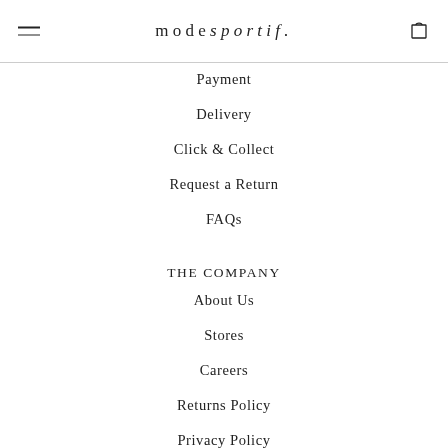mode sportif.
Payment
Delivery
Click & Collect
Request a Return
FAQs
THE COMPANY
About Us
Stores
Careers
Returns Policy
Privacy Policy
Terms
Loyalty Terms